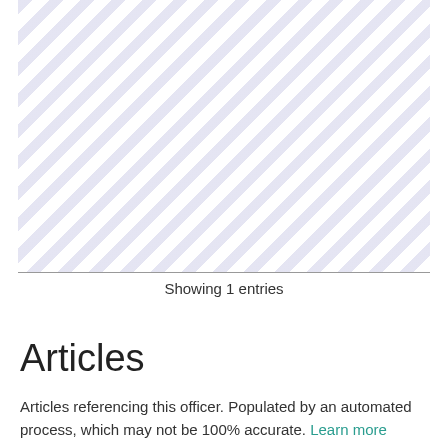[Figure (other): Diagonal stripe pattern fill area with light purple/lavender stripes on white background]
Showing 1 entries
Articles
Articles referencing this officer. Populated by an automated process, which may not be 100% accurate. Learn more